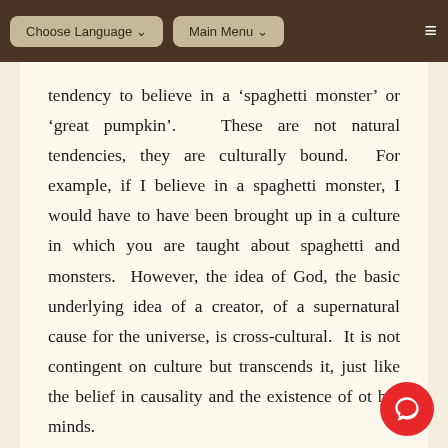Choose Language ˅   Main Menu ˅
tendency to believe in a ‘spaghetti monster’ or ‘great pumpkin’.  These are not natural tendencies, they are culturally bound.  For example, if I believe in a spaghetti monster, I would have to have been brought up in a culture in which you are taught about spaghetti and monsters.  However, the idea of God, the basic underlying idea of a creator, of a supernatural cause for the universe, is cross-cultural.  It is not contingent on culture but transcends it, just like the belief in causality and the existence of other minds.